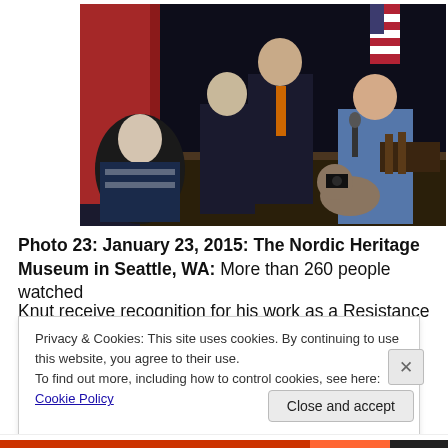[Figure (photo): Photo of several people at an event at the Nordic Heritage Museum. People are standing on a stage with a red curtain and American flag in the background. A person in the foreground is photographing the group.]
Photo 23:  January 23, 2015:  The Nordic Heritage Museum in Seattle, WA:  More than 260 people watched Knut receive recognition for his work as a Resistance...
Privacy & Cookies: This site uses cookies. By continuing to use this website, you agree to their use.
To find out more, including how to control cookies, see here: Cookie Policy
Close and accept